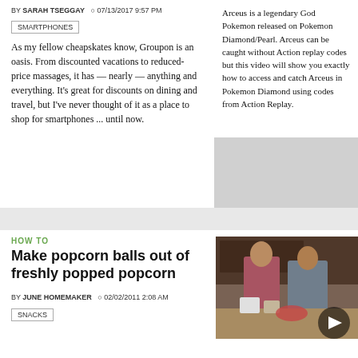BY SARAH TSEGGAY  07/13/2017 9:57 PM
SMARTPHONES
As my fellow cheapskates know, Groupon is an oasis. From discounted vacations to reduced-price massages, it has — nearly — anything and everything. It's great for discounts on dining and travel, but I've never thought of it as a place to shop for smartphones ... until now.
Arceus is a legendary God Pokemon released on Pokemon Diamond/Pearl. Arceus can be caught without Action replay codes but this video will show you exactly how to access and catch Arceus in Pokemon Diamond using codes from Action Replay.
HOW TO
Make popcorn balls out of freshly popped popcorn
BY JUNE HOMEMAKER  02/02/2011 2:08 AM
SNACKS
[Figure (photo): Two women making popcorn balls in a kitchen, with a play button overlay indicating video content]
World's largest online restaurant supplier
Popular Restaurant Supply Brands
www.webstaurantstore.com